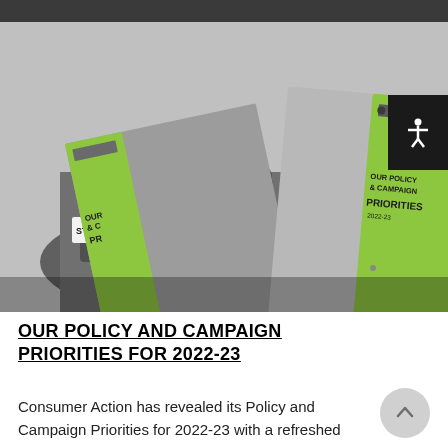[Figure (photo): Two Consumer Action brochures titled 'OUR POLICY & CAMPAIGN PRIORITIES 2022-23' shown against a black-and-white background photo of people holding STOP signs at a protest. Brochures have lime green covers with dark text.]
OUR POLICY AND CAMPAIGN PRIORITIES FOR 2022-23
Consumer Action has revealed its Policy and Campaign Priorities for 2022-23 with a refreshed